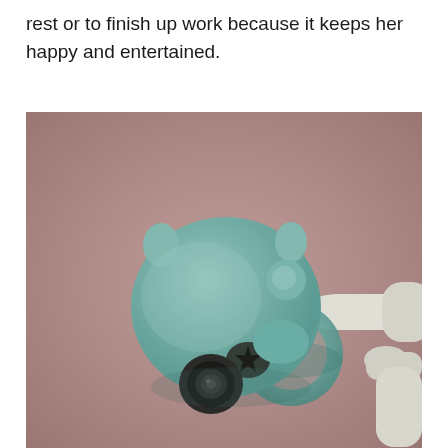rest or to finish up work because it keeps her happy and entertained.
[Figure (photo): A 3D rendered image of a cute teal/mint colored robotic cat-like camera device mounted on a white robotic arm. The device has a round fuzzy head with small ears, a circular camera lens, and is attached to a teal ring/disc mount. The background is a muted mauve/rose-brown color.]